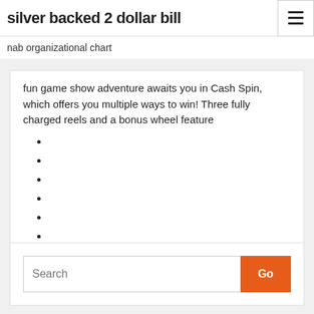silver backed 2 dollar bill
nab organizational chart
fun game show adventure awaits you in Cash Spin, which offers you multiple ways to win! Three fully charged reels and a bonus wheel feature